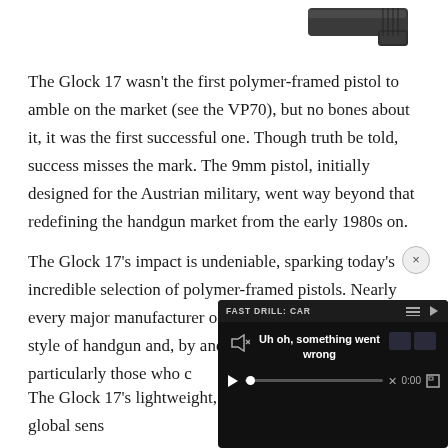[Figure (photo): Partial view of a black Glock pistol, showing the top slide portion against a white background, positioned in the upper right of the page]
The Glock 17 wasn't the first polymer-framed pistol to amble on the market (see the VP70), but no bones about it, it was the first successful one. Though truth be told, success misses the mark. The 9mm pistol, initially designed for the Austrian military, went way beyond that redefining the handgun market from the early 1980s on.
The Glock 17's impact is undeniable, sparking today's incredible selection of polymer-framed pistols. Nearly every major manufacturer offers at least one line of the style of handgun and, by and large, they a[re favored by law-abiding] citizens, particularly those who c[arry concealed].
The Glock 17's lightweight, simp[licity and] shootability made it a global sens[ation]
[Figure (screenshot): Video overlay showing error state: 'FAST DRILL: CAR' header with icons, and error message 'Uh oh, something went wrong' with video controls showing 0:00 timestamp. A close button (x) appears at top right of the overlay.]